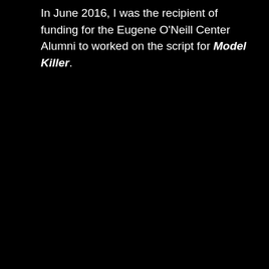In June 2016, I was the recipient of funding for the Eugene O'Neill Center Alumni to worked on the script for Model Killer.